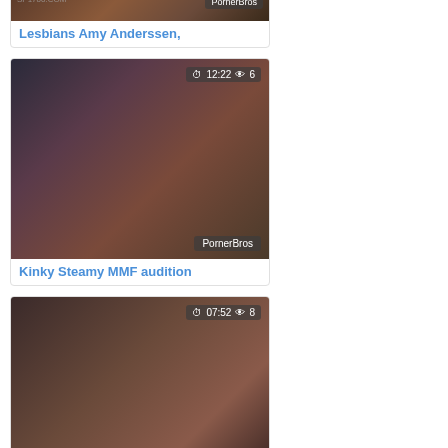[Figure (screenshot): Video thumbnail card: Lesbians Amy Anderssen, with PornerBros watermark]
Lesbians Amy Anderssen,
[Figure (screenshot): Video thumbnail showing adult content, duration 12:22, views 6, PornerBros watermark]
Kinky Steamy MMF audition
[Figure (screenshot): Video thumbnail showing adult content, duration 07:52, views 8, PornerBros watermark]
Kinky Milf Shay Fox punishes
[Figure (screenshot): Partial video thumbnail at bottom, duration 10:01, views 3 partially visible]